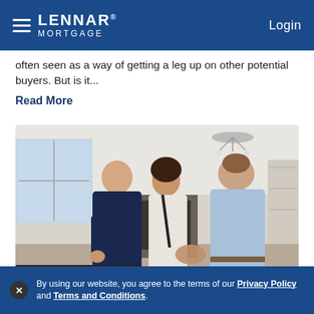LENNAR MORTGAGE | Login
often seen as a way of getting a leg up on other potential buyers. But is it...
Read More
[Figure (photo): A real estate agent shaking hands with a woman buyer while a man stands beside her in a bright modern home interior.]
OCTOBER 19 2021
By using our website, you agree to the terms of our Privacy Policy and Terms and Conditions.